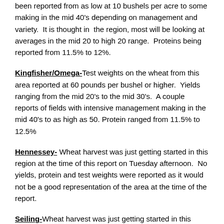been reported from as low at 10 bushels per acre to some making in the mid 40's depending on management and variety. It is thought in the region, most will be looking at averages in the mid 20 to high 20 range. Proteins being reported from 11.5% to 12%.
Kingfisher/Omega- Test weights on the wheat from this area reported at 60 pounds per bushel or higher. Yields ranging from the mid 20's to the mid 30's. A couple reports of fields with intensive management making in the mid 40's to as high as 50. Protein ranged from 11.5% to 12.5%
Hennessey- Wheat harvest was just getting started in this region at the time of this report on Tuesday afternoon. No yields, protein and test weights were reported as it would not be a good representation of the area at the time of the report.
Seiling- Wheat harvest was just getting started in this region at the time of this report on Tuesday afternoon. No yields, protein and test weights were reported as it would